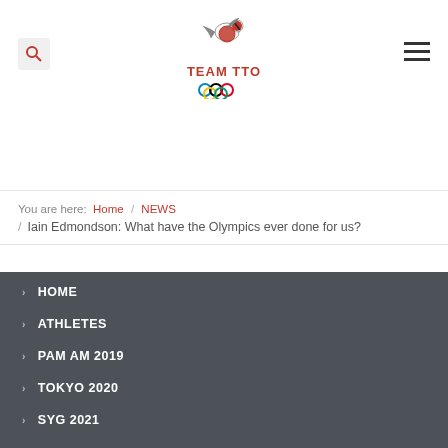[Figure (logo): Team TTO Olympic logo with bird and Olympic rings]
You are here: Home / NEWS / Iain Edmondson: What have the Olympics ever done for us?
> HOME
> ATHLETES
> PAM AM 2019
> TOKYO 2020
> SYG 2021